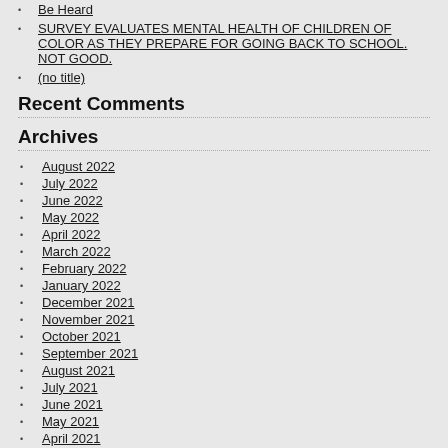Be Heard
SURVEY EVALUATES MENTAL HEALTH OF CHILDREN OF COLOR AS THEY PREPARE FOR GOING BACK TO SCHOOL. NOT GOOD.
(no title)
Recent Comments
Archives
August 2022
July 2022
June 2022
May 2022
April 2022
March 2022
February 2022
January 2022
December 2021
November 2021
October 2021
September 2021
August 2021
July 2021
June 2021
May 2021
April 2021